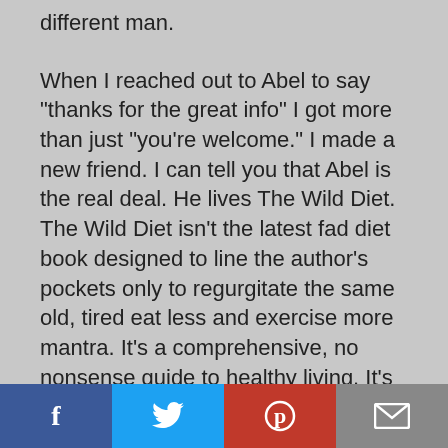different man.
When I reached out to Abel to say “thanks for the great info” I got more than just “you’re welcome.” I made a new friend. I can tell you that Abel is the real deal. He lives The Wild Diet. The Wild Diet isn’t the latest fad diet book designed to line the author’s pockets only to regurgitate the same old, tired eat less and exercise more mantra. It’s a comprehensive, no nonsense guide to healthy living. It’s packed full of common sense that our grandparents
Social sharing bar: Facebook, Twitter, Pinterest, Email